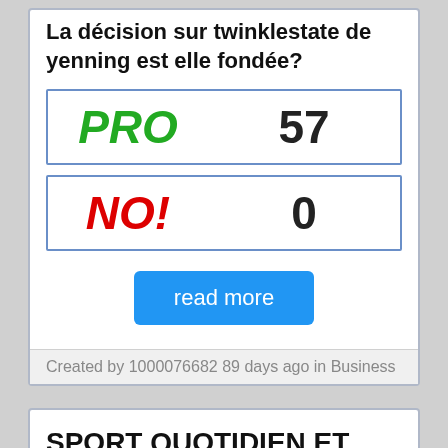La décision sur twinklestate de yenning est elle fondée?
| Vote | Count |
| --- | --- |
| PRO | 57 |
| NO! | 0 |
read more
Created by 1000076682 89 days ago in Business
SPORT QUOTIDIEN ET SANTE PHYSIQUE
| Vote | Count |
| --- | --- |
| PRO | 61 |